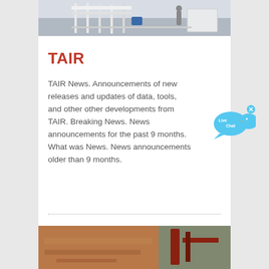[Figure (photo): Industrial machinery or equipment in an outdoor/warehouse setting, partially visible at top of page]
TAIR
TAIR News. Announcements of new releases and updates of data, tools, and other other developments from TAIR. Breaking News. News announcements for the past 9 months. What was News. News announcements older than 9 months.
[Figure (illustration): Live Chat widget — blue speech bubble with 'Live Chat' text and a blue bird icon, with an x close button]
[Figure (photo): Outdoor ground-level photo showing reddish-brown soil and metallic equipment, partially visible at bottom of page]